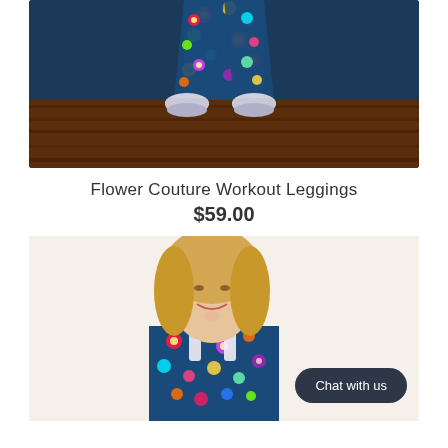[Figure (photo): Photo of colorful floral-print workout leggings worn by a person standing on a dark wood floor, holding a yoga mat, showing from waist down to feet with white sneakers.]
Flower Couture Workout Leggings
$59.00
[Figure (photo): Photo of a smiling blonde woman wearing a colorful floral-print workout tank top, with a 'Chat with us' button overlay in the bottom right corner.]